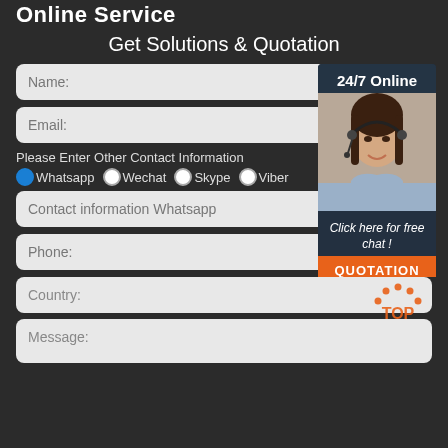Online Service
Get Solutions & Quotation
Name:
Email:
Please Enter Other Contact Information
Whatsapp
Wechat
Skype
Viber
Contact information Whatsapp
Phone:
[Figure (photo): Customer service agent - 24/7 Online panel with photo of woman wearing headset, italic text 'Click here for free chat !' and orange QUOTATION button]
Country:
Message: